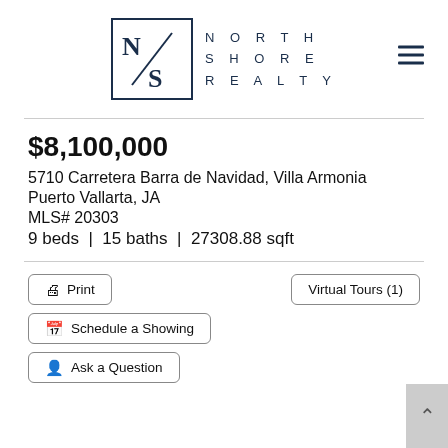[Figure (logo): North Shore Realty logo with N/S monogram in a box and company name to the right, plus hamburger menu icon]
$8,100,000
5710 Carretera Barra de Navidad, Villa Armonia
Puerto Vallarta, JA
MLS# 20303
9 beds  |  15 baths  |  27308.88 sqft
Print | Virtual Tours (1) | Schedule a Showing | Ask a Question